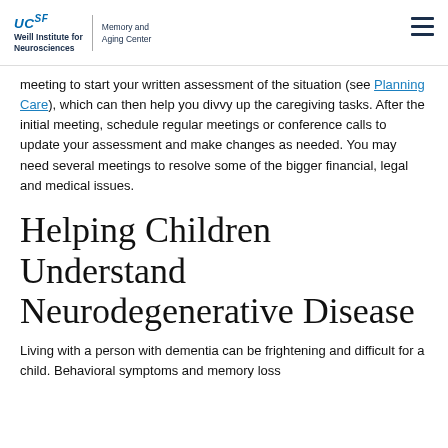UCSF Weill Institute for Neurosciences | Memory and Aging Center
meeting to start your written assessment of the situation (see Planning Care), which can then help you divvy up the caregiving tasks. After the initial meeting, schedule regular meetings or conference calls to update your assessment and make changes as needed. You may need several meetings to resolve some of the bigger financial, legal and medical issues.
Helping Children Understand Neurodegenerative Disease
Living with a person with dementia can be frightening and difficult for a child. Behavioral symptoms and memory loss